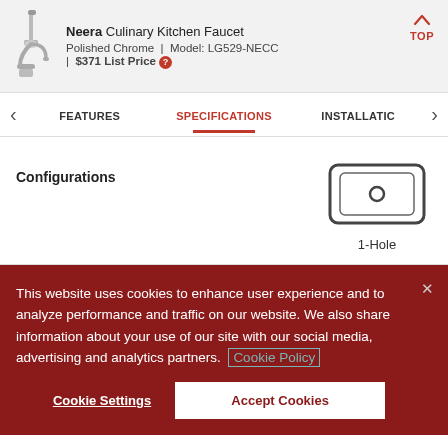Neera Culinary Kitchen Faucet | Polished Chrome | Model: LG529-NECC | $371 List Price
FEATURES   SPECIFICATIONS   INSTALLATION
Configurations
[Figure (schematic): Sink icon showing 1-Hole configuration with a single center hole]
1-Hole
This website uses cookies to enhance user experience and to analyze performance and traffic on our website. We also share information about your use of our site with our social media, advertising and analytics partners. Cookie Policy
Cookie Settings
Accept Cookies